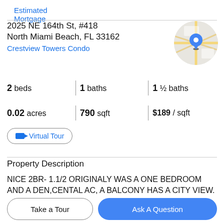Estimated Mortgage
2025 NE 164th St, #418
North Miami Beach, FL 33162
Crestview Towers Condo
[Figure (map): Circular map thumbnail showing location with blue pin marker]
2 beds | 1 baths | 1 ½ baths
0.02 acres | 790 sqft | $189 / sqft
Virtual Tour
Property Description
NICE 2BR- 1.1/2 ORIGINALY WAS A ONE BEDROOM AND A DEN,CENTAL AC, A BALCONY HAS A CITY VIEW.
Take a Tour
Ask A Question